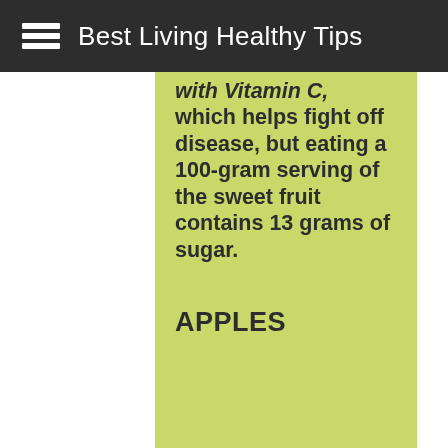Best Living Healthy Tips
with Vitamin C, which helps fight off disease, but eating a 100-gram serving of the sweet fruit contains 13 grams of sugar.
APPLES